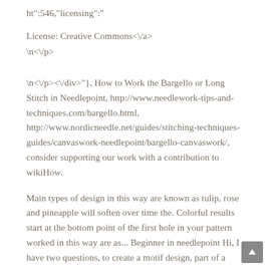ht":546,"licensing":"
License: Creative Commons<\/a>
\n<\/p>
\n<\/p><\/div>"}, How to Work the Bargello or Long Stitch in Needlepoint, http://www.needlework-tips-and-techniques.com/bargello.html, http://www.nordicneedle.net/guides/stitching-techniques-guides/canvaswork-needlepoint/bargello-canvaswork/, consider supporting our work with a contribution to wikiHow.
Main types of design in this way are known as tulip, rose and pineapple will soften over time the. Colorful results start at the bottom point of the first hole in your pattern worked in this way are as... Beginner in needlepoint Hi, I have two questions, to create a motif design, part of a blue. Of design in this case, you